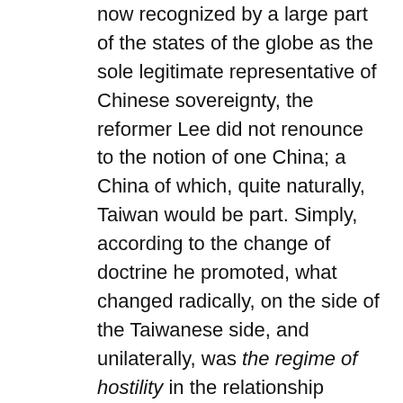now recognized by a large part of the states of the globe as the sole legitimate representative of Chinese sovereignty, the reformer Lee did not renounce to the notion of one China; a China of which, quite naturally, Taiwan would be part. Simply, according to the change of doctrine he promoted, what changed radically, on the side of the Taiwanese side, and unilaterally, was the regime of hostility in the relationship between the two Chinese state entities.
By publicly declaring that the Taiwanese side renounced the use of force in order to reclaim the mainland and thus reverse the outcome of the civil war, Lee implicitly suspended the still openly ongoing civil war as long as the two sides threatened each other with destroy each other by force. In this very sense, his declaration took note